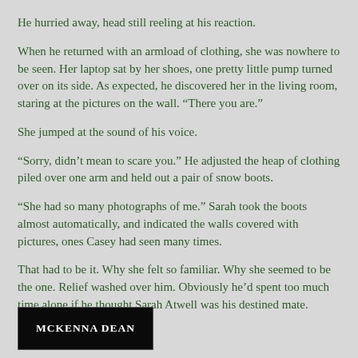He hurried away, head still reeling at his reaction.
When he returned with an armload of clothing, she was nowhere to be seen. Her laptop sat by her shoes, one pretty little pump turned over on its side. As expected, he discovered her in the living room, staring at the pictures on the wall. “There you are.”
She jumped at the sound of his voice.
“Sorry, didn’t mean to scare you.” He adjusted the heap of clothing piled over one arm and held out a pair of snow boots.
“She had so many photographs of me.” Sarah took the boots almost automatically, and indicated the walls covered with pictures, ones Casey had seen many times.
That had to be it. Why she felt so familiar. Why she seemed to be the one. Relief washed over him. Obviously he’d spent too much time alone if he thought Sarah Atwell was his destined mate.
[Figure (logo): McKenna Dean author logo/book cover banner in black with white text]